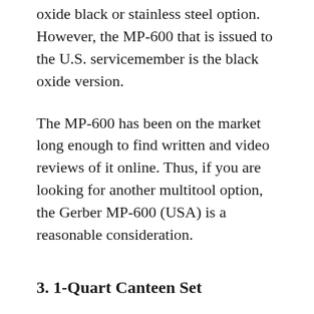oxide black or stainless steel option. However, the MP-600 that is issued to the U.S. servicemember is the black oxide version.
The MP-600 has been on the market long enough to find written and video reviews of it online. Thus, if you are looking for another multitool option, the Gerber MP-600 (USA) is a reasonable consideration.
3. 1-Quart Canteen Set
Military canteens are favorite items for most people. They are readily available in most surplus stores. The U.S. military 1-quart